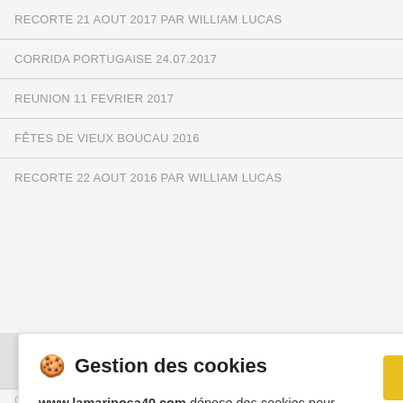RECORTE 21 AOUT 2017 par William LUCAS
CORRIDA PORTUGAISE 24.07.2017
REUNION 11 FEVRIER 2017
FÊTES DE VIEUX BOUCAU 2016
RECORTE 22 AOUT 2016 PAR WILLIAM LUCAS
🍪 Gestion des cookies
www.lamariposa40.com dépose des cookies pour améliorer votre expérience de navigation, mesurer l'audience du site internet, afficher des publicités personnalisées, réaliser des campagnes ciblées et personnaliser l'interface du site.
Consulter la politique de confidentialité
REFUSER
PARAMÉTRER
ACCEPTER